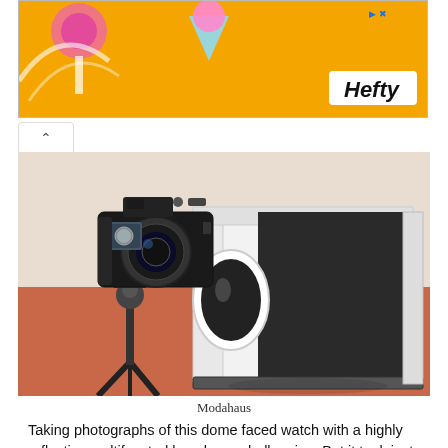[Figure (photo): Orange advertisement banner with Hefty brand logo in white box, bottom right. Colorful cartoon shapes on left side. Small navigation arrows top right.]
[Figure (photo): Photograph of a DSLR camera on a tripod pointed at a white photo lightbox/studio box on a red/orange table surface. The lightbox has a circular hole in front and a dark background insert.]
Modahaus
Taking photographs of this dome faced watch with a highly reflective multifaceted bezel was challenging. But it took just 2 minutes to accomplish the following photo using 2 Ikea gooseneck lamps (Janso).  These